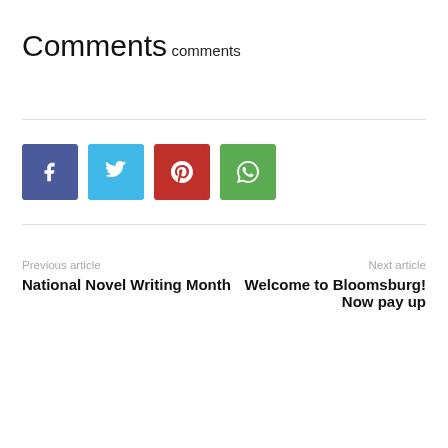Comments
comments
[Figure (infographic): Row of four social share buttons: Facebook (dark blue), Twitter (light blue), Pinterest (red), WhatsApp (green)]
Previous article
National Novel Writing Month
Next article
Welcome to Bloomsburg! Now pay up